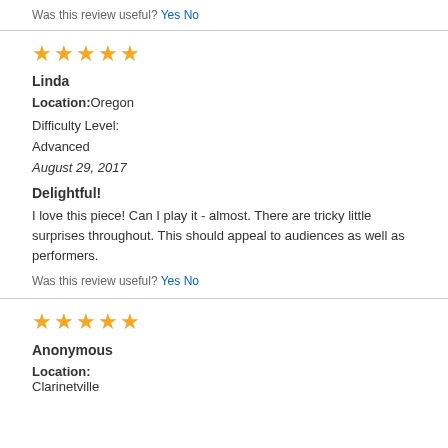Was this review useful? Yes No
[Figure (other): 5 orange stars rating]
Linda
Location: Oregon
Difficulty Level: Advanced
August 29, 2017
Delightful!
I love this piece! Can I play it - almost. There are tricky little surprises throughout. This should appeal to audiences as well as performers.
Was this review useful? Yes No
[Figure (other): 5 orange stars rating]
Anonymous
Location: Clarinetville